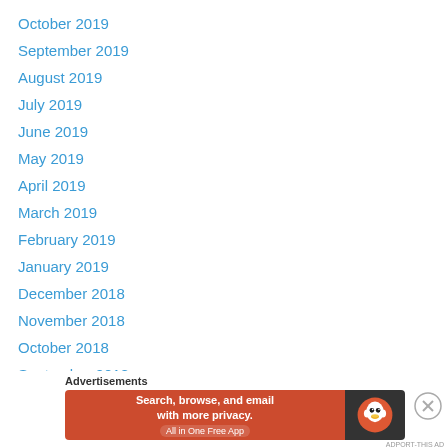October 2019
September 2019
August 2019
July 2019
June 2019
May 2019
April 2019
March 2019
February 2019
January 2019
December 2018
November 2018
October 2018
September 2018
August 2018
July 2018
[Figure (infographic): DuckDuckGo advertisement banner: orange left section with text 'Search, browse, and email with more privacy. All in One Free App', dark right section with DuckDuckGo duck logo]